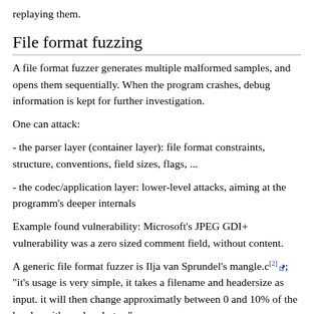replaying them.
File format fuzzing
A file format fuzzer generates multiple malformed samples, and opens them sequentially. When the program crashes, debug information is kept for further investigation.
One can attack:
- the parser layer (container layer): file format constraints, structure, conventions, field sizes, flags, ...
- the codec/application layer: lower-level attacks, aiming at the programm's deeper internals
Example found vulnerability: Microsoft's JPEG GDI+ vulnerability was a zero sized comment field, without content.
A generic file format fuzzer is Ilja van Sprundel's mangle.c[2]; "it's usage is very simple, it takes a filename and headersize as input. it will then change approximatly between 0 and 10% of the header with random bytes."
One may use tools like Hachoir[3] as a generic parser for file